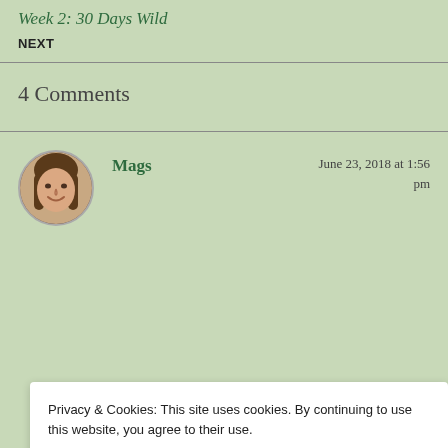Week 2: 30 Days Wild
NEXT
4 Comments
Mags
June 23, 2018 at 1:56 pm
Privacy & Cookies: This site uses cookies. By continuing to use this website, you agree to their use.
To find out more, including how to control cookies, see here: Cookie Policy
Close and accept